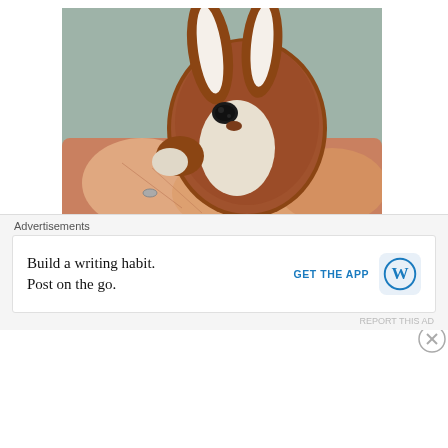[Figure (photo): A hand holding a small brown needle-felted rabbit toy with white inner ears and a black eye, photographed against a teal/grey background.]
adding the pupil in this way i.e. layering one circular shap… less tedious than attempting to shape the iris in a half…
Advertisements
Build a writing habit. Post on the go.
GET THE APP
REPORT THIS AD